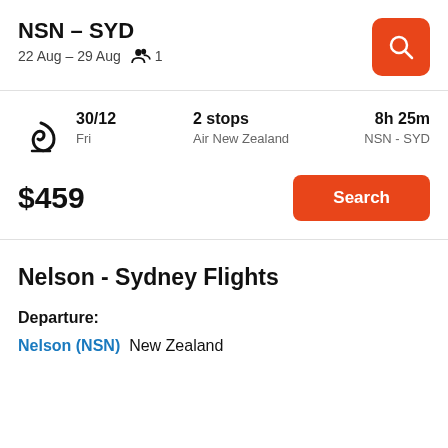NSN – SYD
22 Aug – 29 Aug  1
[Figure (screenshot): Orange search button with magnifying glass icon]
[Figure (logo): Air New Zealand koru logo]
30/12 Fri
2 stops Air New Zealand
8h 25m NSN - SYD
$459
Search
Nelson - Sydney Flights
Departure:
Nelson (NSN)  New Zealand